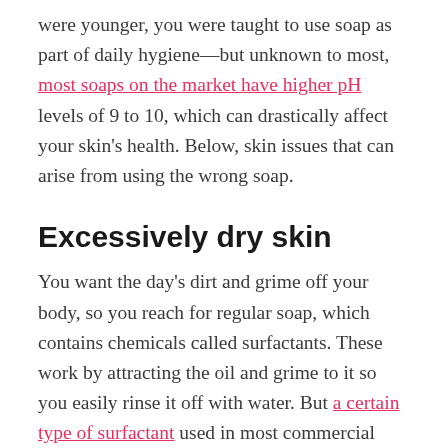were younger, you were taught to use soap as part of daily hygiene—but unknown to most, most soaps on the market have higher pH levels of 9 to 10, which can drastically affect your skin's health. Below, skin issues that can arise from using the wrong soap.
Excessively dry skin
You want the day's dirt and grime off your body, so you reach for regular soap, which contains chemicals called surfactants. These work by attracting the oil and grime to it so you easily rinse it off with water. But a certain type of surfactant used in most commercial soaps can be too helpful that they end up stripping natural